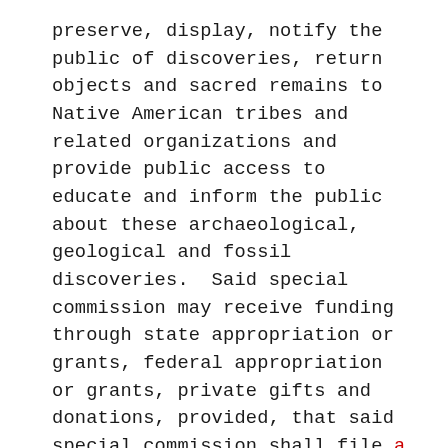preserve, display, notify the public of discoveries, return objects and sacred remains to Native American tribes and related organizations and provide public access to educate and inform the public about these archaeological, geological and fossil discoveries.  Said special commission may receive funding through state appropriation or grants, federal appropriation or grants, private gifts and donations, provided, that said special commission shall file a preliminary report with the joint committee on environment, natural resources and agriculture and the clerks of the House and Senate no later than November 1, 2022.